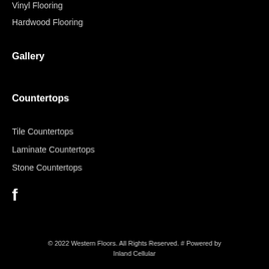Vinyl Flooring
Hardwood Flooring
Gallery
Countertops
Tile Countertops
Laminate Countertops
Stone Countertops
[Figure (logo): Facebook icon (f logo) in white]
© 2022 Western Floors. All Rights Reserved. # Powered by Inland Cellular